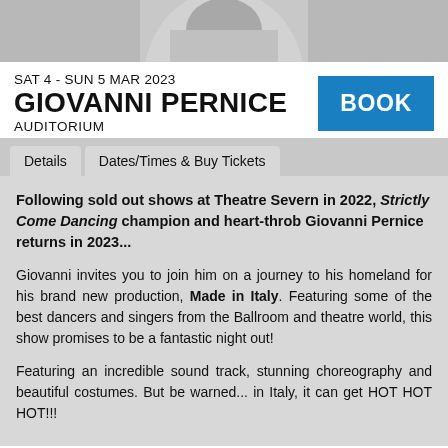[Figure (photo): Black and white photo of Giovanni Pernice, cropped to show upper body, tattooed arms, wearing white shirt]
SAT 4 - SUN 5 MAR 2023
GIOVANNI PERNICE
AUDITORIUM
BOOK
Details
Dates/Times & Buy Tickets
Following sold out shows at Theatre Severn in 2022, Strictly Come Dancing champion and heart-throb Giovanni Pernice returns in 2023...
Giovanni invites you to join him on a journey to his homeland for his brand new production, Made in Italy. Featuring some of the best dancers and singers from the Ballroom and theatre world, this show promises to be a fantastic night out!
Featuring an incredible sound track, stunning choreography and beautiful costumes. But be warned... in Italy, it can get HOT HOT HOT!!!